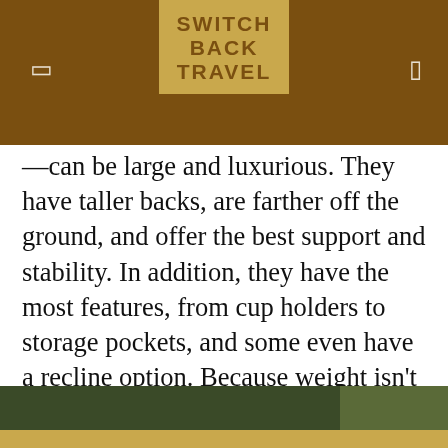SWITCH BACK TRAVEL
—can be large and luxurious. They have taller backs, are farther off the ground, and offer the best support and stability. In addition, they have the most features, from cup holders to storage pockets, and some even have a recline option. Because weight isn't a major factor, you can get a well-made and comfortable camping chair at a [ing as] [from] [estyle]
This website uses cookies to ensure you get the best user experience. Learn more
Got it!
[Figure (photo): Bottom strip showing people at a campsite outdoors]